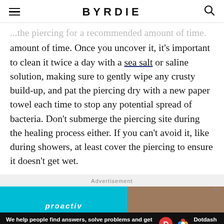BYRDIE
...the piercing for a recommended amount of time. Once you uncover it, it's important to clean it twice a day with a sea salt or saline solution, making sure to gently wipe any crusty build-up, and pat the piercing dry with a new paper towel each time to stop any potential spread of bacteria. Don't submerge the piercing site during the healing process either. If you can't avoid it, like during showers, at least cover the piercing to ensure it doesn't get wet.
Advertisement
[Figure (other): Proactiv advertisement banner with teal background showing proactiv logo and a person's face on the right side]
We help people find answers, solve problems and get inspired. Dotdash meredith